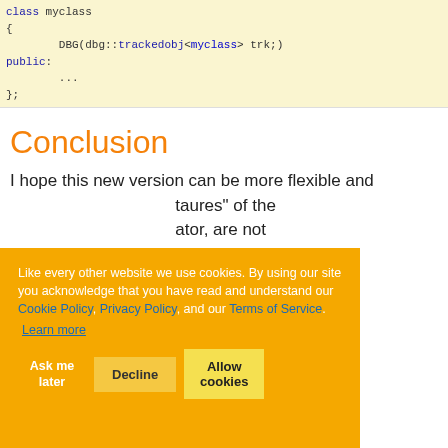class myclass
{
        DBG(dbg::trackedobj<myclass> trk;)
public:
        ...
};
Conclusion
I hope this new version can be more flexible and ... "taures" of the ... ator, are not ... e not required if
... text and ... he benefits of
Compilers compatibility
Like every other website we use cookies. By using our site you acknowledge that you have read and understand our Cookie Policy, Privacy Policy, and our Terms of Service. Learn more
Ask me later | Decline | Allow cookies